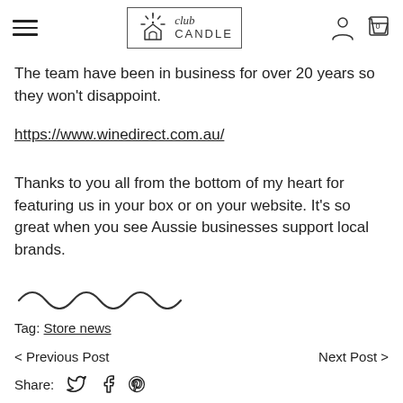Club Candle — navigation header with hamburger menu, logo, user icon and cart
The team have been in business for over 20 years so they won't disappoint.
https://www.winedirect.com.au/
Thanks to you all from the bottom of my heart for featuring us in your box or on your website. It's so great when you see Aussie businesses support local brands.
[Figure (illustration): Decorative wavy line divider]
Tag: Store news
< Previous Post    Next Post >
Share: [Twitter] [Facebook] [Pinterest]